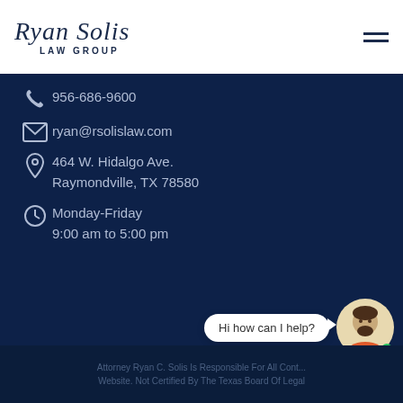Ryan Solis Law Group
956-686-9600
ryan@rsolislaw.com
464 W. Hidalgo Ave.
Raymondville, TX 78580
Monday-Friday
9:00 am to 5:00 pm
Hi how can I help?
Attorney Ryan C. Solis Is Responsible For All Cont... Website. Not Certified By The Texas Board Of Legal